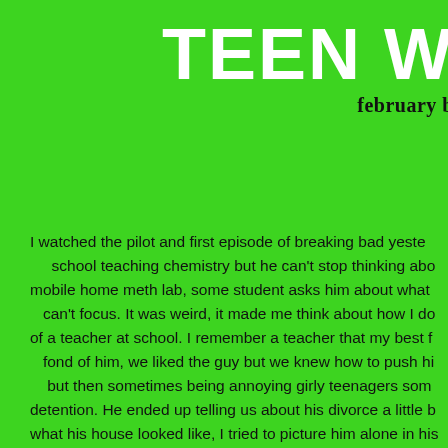TEEN W
february b
I watched the pilot and first episode of breaking bad yeste school teaching chemistry but he can't stop thinking abo mobile home meth lab, some student asks him about what can't focus. It was weird, it made me think about how I do of a teacher at school. I remember a teacher that my best f fond of him, we liked the guy but we knew how to push hi but then sometimes being annoying girly teenagers som detention. He ended up telling us about his divorce a little b what his house looked like, I tried to picture him alone in his him.